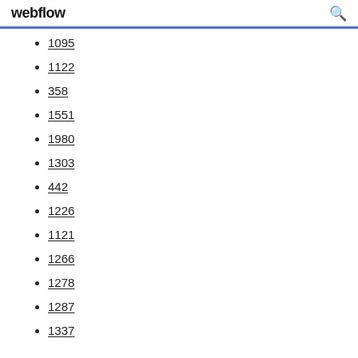webflow
1095
1122
358
1551
1980
1303
442
1226
1121
1266
1278
1287
1337